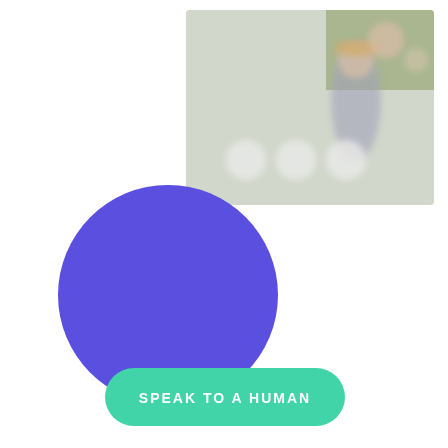[Figure (illustration): White oval/pill shape partially visible in upper left corner, representing a speech bubble or profile placeholder]
[Figure (photo): Blurred outdoor photo in upper right showing people seated, with bokeh effect, warm tones]
[Figure (illustration): Large solid purple/indigo circle in the center-left area of the page]
[Figure (illustration): Teal/mint green rounded rectangle button with white uppercase text 'SPEAK TO A HUMAN']